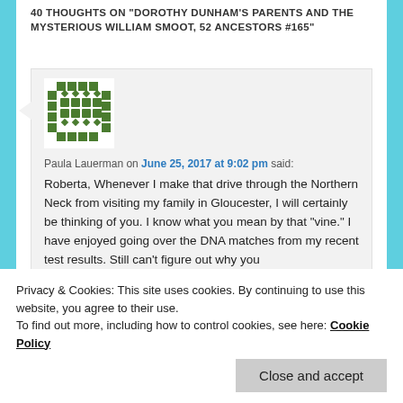40 THOUGHTS ON "DOROTHY DUNHAM'S PARENTS AND THE MYSTERIOUS WILLIAM SMOOT, 52 ANCESTORS #165"
Paula Lauerman on June 25, 2017 at 9:02 pm said:
Roberta, Whenever I make that drive through the Northern Neck from visiting my family in Gloucester, I will certainly be thinking of you. I know what you mean by that "vine." I have enjoyed going over the DNA matches from my recent test results. Still can't figure out why you
Privacy & Cookies: This site uses cookies. By continuing to use this website, you agree to their use.
To find out more, including how to control cookies, see here: Cookie Policy
Close and accept